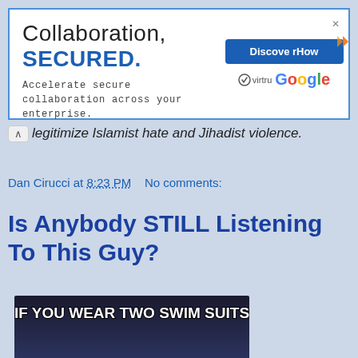[Figure (other): Advertisement banner: 'Collaboration, SECURED. Accelerate secure collaboration across your enterprise.' with Virtru and Google logos and a 'Discover How' button.]
legitimize Islamist hate and Jihadist violence.
Dan Cirucci at 8:23 PM   No comments:
Is Anybody STILL Listening To This Guy?
[Figure (photo): Meme image of a man at a White House podium with text: 'IF YOU WEAR TWO SWIM SUITS' at top and 'YOU CAN PEE IN THE POOL THIS SUMMER' at bottom.]